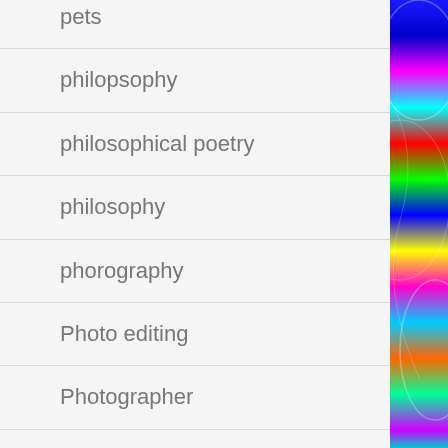pets
philopsophy
philosophical poetry
philosophy
phorography
Photo editing
Photographer
Photographers
photography